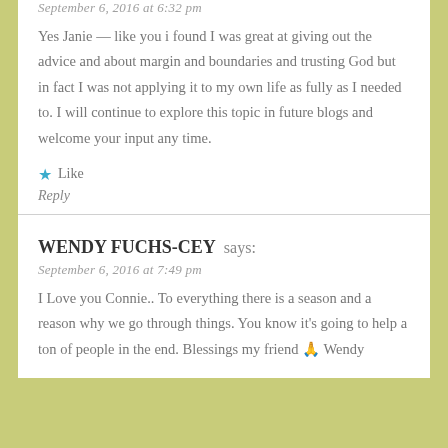September 6, 2016 at 6:32 pm
Yes Janie — like you i found I was great at giving out the advice and about margin and boundaries and trusting God but in fact I was not applying it to my own life as fully as I needed to. I will continue to explore this topic in future blogs and welcome your input any time.
★ Like
Reply
WENDY FUCHS-CEY says:
September 6, 2016 at 7:49 pm
I Love you Connie.. To everything there is a season and a reason why we go through things. You know it's going to help a ton of people in the end. Blessings my friend 🙏 Wendy